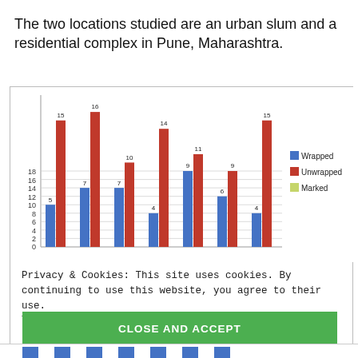The two locations studied are an urban slum and a residential complex in Pune, Maharashtra.
[Figure (grouped-bar-chart): ]
Privacy & Cookies: This site uses cookies. By continuing to use this website, you agree to their use. To find out more, including how to control cookies, see here: Cookie Policy.
CLOSE AND ACCEPT